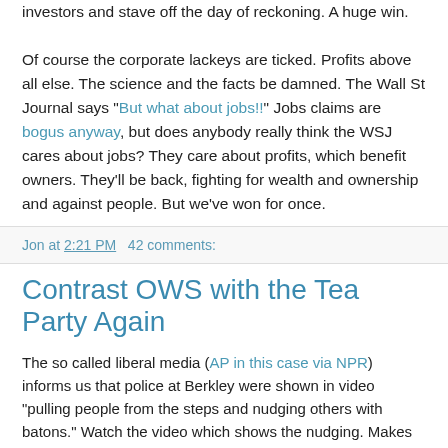investors and stave off the day of reckoning. A huge win.

Of course the corporate lackeys are ticked. Profits above all else. The science and the facts be damned. The Wall St Journal says "But what about jobs!!" Jobs claims are bogus anyway, but does anybody really think the WSJ cares about jobs? They care about profits, which benefit owners. They'll be back, fighting for wealth and ownership and against people. But we've won for once.
Jon at 2:21 PM    42 comments:
Contrast OWS with the Tea Party Again
The so called liberal media (AP in this case via NPR) informs us that police at Berkley were shown in video "pulling people from the steps and nudging others with batons." Watch the video which shows the nudging. Makes sense to Colbert. He comments here.